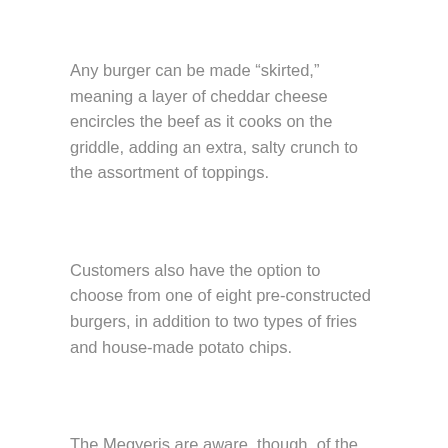Any burger can be made “skirted,” meaning a layer of cheddar cheese encircles the beef as it cooks on the griddle, adding an extra, salty crunch to the assortment of toppings.
Customers also have the option to choose from one of eight pre-constructed burgers, in addition to two types of fries and house-made potato chips.
The Megyeris are aware, though, of the new, yet experienced competition, Pueblo’s Bingo Burgers, projected to open downtown in May.